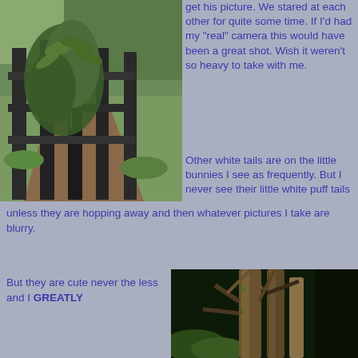[Figure (photo): Wooden fence with green foliage and dirt path in a wooded area]
get his picture.  We stared at each other for quite some time.  If I'd had my "real" camera this would have been a great shot.  Wish it weren't so heavy to take with me.
Other white tails are on the little bunnies I see as frequently.  But I never see their little white puff tails unless they are hopping away and then whatever pictures I take are blurry.
[Figure (photo): Close-up of tree trunks and branches in a dark wooded area]
But they are cute never the less and I GREATLY